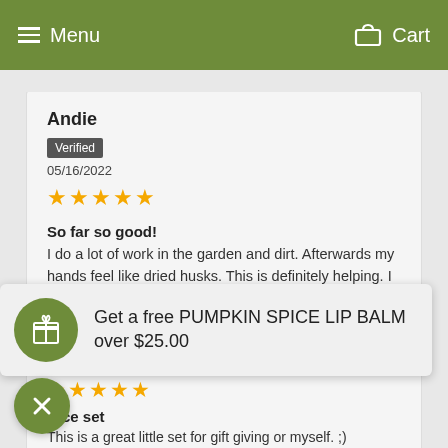Menu | Cart
Andie
Verified
05/16/2022
★★★★★
So far so good!
I do a lot of work in the garden and dirt. Afterwards my hands feel like dried husks. This is definitely helping. I just got it and have only used it twice though. I'll update if... Read more
Get a free PUMPKIN SPICE LIP BALM over $25.00
04/08/2022
★★★★★
Nice set
This is a great little set for gift giving or myself. ;)